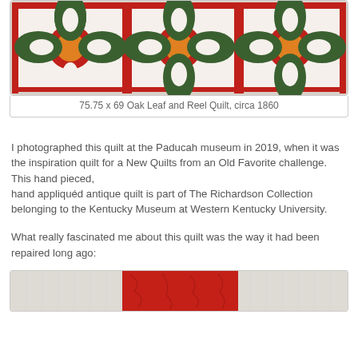[Figure (photo): Photograph of an Oak Leaf and Reel Quilt showing a pattern with green oak leaf shapes, orange/yellow centers, and red sashing on a white background, circa 1860]
75.75 x 69 Oak Leaf and Reel Quilt, circa 1860
I photographed this quilt at the Paducah museum in 2019, when it was the inspiration quilt for a New Quilts from an Old Favorite challenge.  This hand pieced, hand appliquéd antique quilt is part of The Richardson Collection belonging to the Kentucky Museum at Western Kentucky University.
What really fascinated me about this quilt was the way it had been repaired long ago:
[Figure (photo): Close-up photograph of the quilt showing white quilted fabric with a red fabric repair/patch area visible]